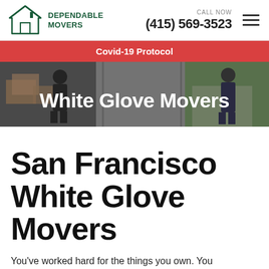Dependable Movers | CALL NOW (415) 569-3523
Covid-19 Protocol
[Figure (photo): Hero banner image showing movers carrying boxes, with 'White Glove Movers' text overlay]
San Francisco White Glove Movers
You've worked hard for the things you own. You appreciate the finer things in life. You take excellent care of your